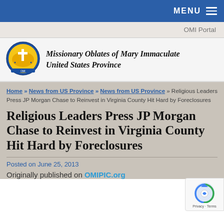MENU
OMI Portal
[Figure (logo): Missionary Oblates of Mary Immaculate United States Province circular logo with map of USA and cross]
Missionary Oblates of Mary Immaculate United States Province
Home » News from US Province » News from US Province » Religious Leaders Press JP Morgan Chase to Reinvest in Virginia County Hit Hard by Foreclosures
Religious Leaders Press JP Morgan Chase to Reinvest in Virginia County Hit Hard by Foreclosures
Posted on June 25, 2013
Originally published on OMIPIC.org